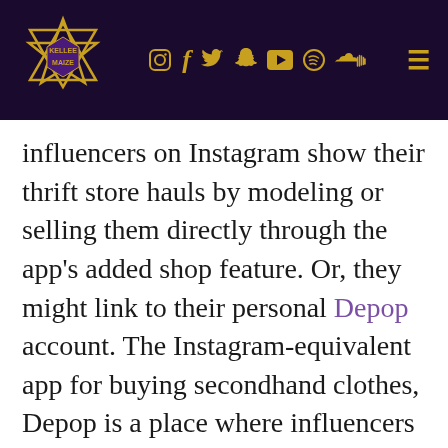Kellee Maize — social media navigation header
influencers on Instagram show their thrift store hauls by modeling or selling them directly through the app's added shop feature. Or, they might link to their personal Depop account. The Instagram-equivalent app for buying secondhand clothes, Depop is a place where influencers and regular people alike sell their own stuff. It can be a place to find some really unique artists, creators, and items.
Influencers with huge online platforms became famous largely on their thrift habits